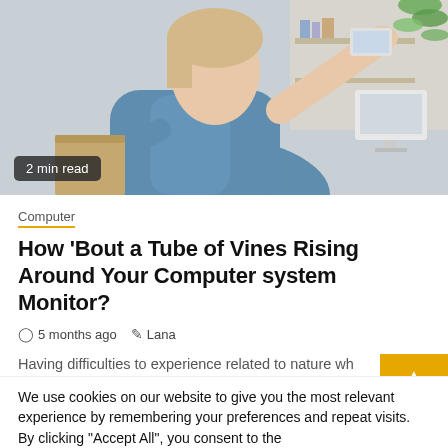[Figure (photo): Woman in blue denim shirt reaching up, indoor home office setting with plants, shelving, and a monitor in background]
2 min read
Computer
How 'Bout a Tube of Vines Rising Around Your Computer system Monitor?
5 months ago   Lana
Having difficulties to experience related to nature wh...
We use cookies on our website to give you the most relevant experience by remembering your preferences and repeat visits. By clicking "Accept All", you consent to the